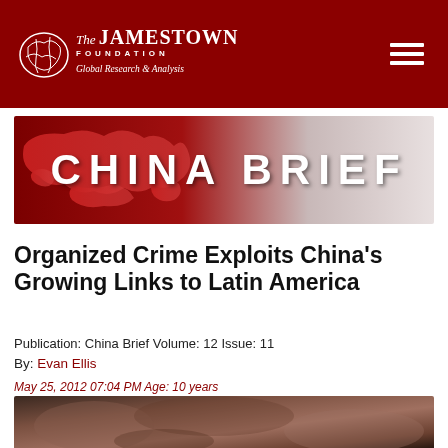The Jamestown Foundation — Global Research & Analysis
[Figure (illustration): China Brief banner with red map silhouette of Asia and text 'CHINA BRIEF' in large white letters on a red-to-grey gradient background]
Organized Crime Exploits China's Growing Links to Latin America
Publication: China Brief Volume: 12 Issue: 11
By: Evan Ellis
May 25, 2012 07:04 PM Age: 10 years
[Figure (photo): Partial photo visible at bottom of page, appears to show close-up details in dark tones]